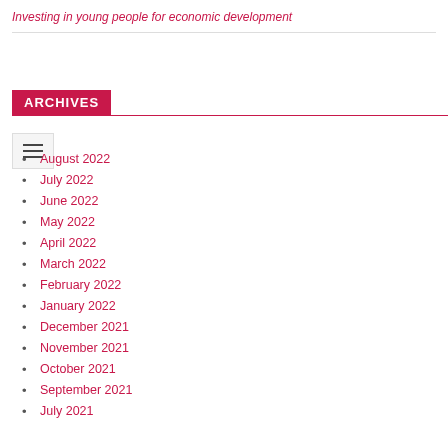Investing in young people for economic development
ARCHIVES
August 2022
July 2022
June 2022
May 2022
April 2022
March 2022
February 2022
January 2022
December 2021
November 2021
October 2021
September 2021
July 2021